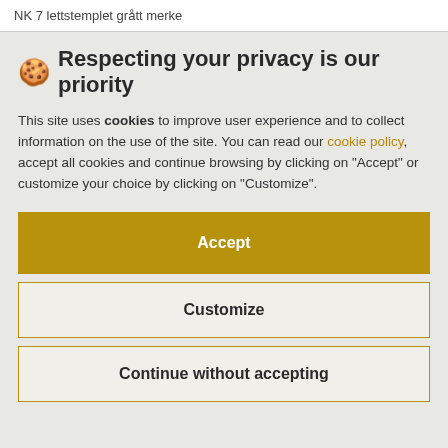NK 7 lettstemplet grått merke
🍪 Respecting your privacy is our priority
This site uses cookies to improve user experience and to collect information on the use of the site. You can read our cookie policy, accept all cookies and continue browsing by clicking on "Accept" or customize your choice by clicking on "Customize".
Accept
Customize
Continue without accepting